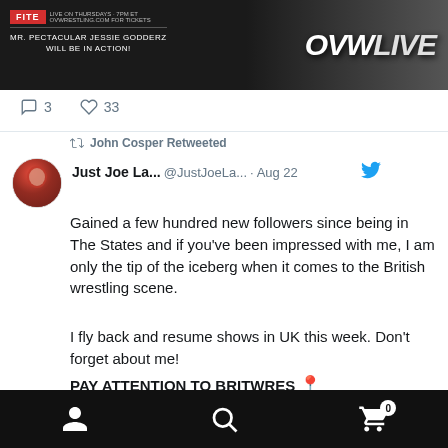[Figure (screenshot): OVW Live promotional banner with FITE logo and Mr. Pectacular Jessie Godderz text]
3   33
John Cosper Retweeted
Just Joe La...  @JustJoeLa... · Aug 22
Gained a few hundred new followers since being in The States and if you've been impressed with me, I am only the tip of the iceberg when it comes to the British wrestling scene.

I fly back and resume shows in UK this week. Don't forget about me!

PAY ATTENTION TO BRITWRES 📍
[Figure (screenshot): Mobile app bottom navigation bar with person, search, and cart icons on black background]